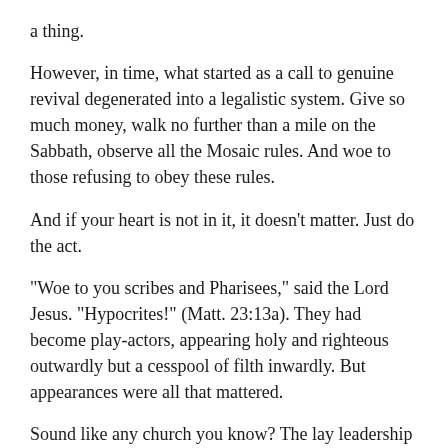a thing.
However, in time, what started as a call to genuine revival degenerated into a legalistic system. Give so much money, walk no further than a mile on the Sabbath, observe all the Mosaic rules. And woe to those refusing to obey these rules.
And if your heart is not in it, it doesn't matter. Just do the act.
"Woe to you scribes and Pharisees," said the Lord Jesus. "Hypocrites!" (Matt. 23:13a). They had become play-actors, appearing holy and righteous outwardly but a cesspool of filth inwardly. But appearances were all that mattered.
Sound like any church you know? The lay leadership is there on time, gives money and takes the lead in every way, but off-campus they are rascals, fornicators, pornographers and even criminals.
My single concern here is that you and I watch for the